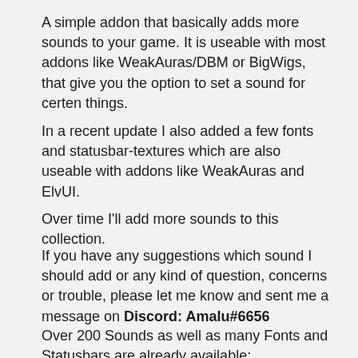A simple addon that basically adds more sounds to your game. It is useable with most addons like WeakAuras/DBM or BigWigs, that give you the option to set a sound for certen things.
In a recent update I also added a few fonts and statusbar-textures which are also useable with addons like WeakAuras and ElvUI.
Over time I'll add more sounds to this collection.
If you have any suggestions which sound I should add or any kind of question, concerns or trouble, please let me know and sent me a message on Discord: Amalu#6656
Over 200 Sounds as well as many Fonts and Statusbars are already available: